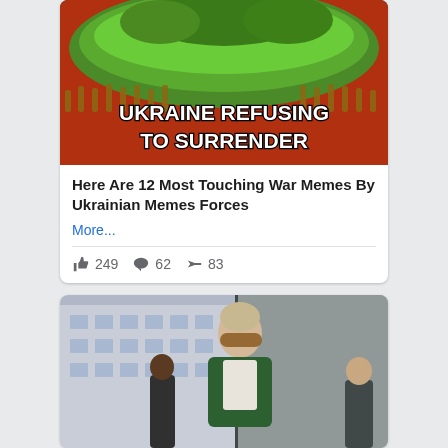[Figure (photo): Meme image showing soldiers holding up a landmass, with text overlay 'UKRAINE REFUSING TO SURRENDER']
Here Are 12 Most Touching War Memes By Ukrainian Memes Forces
More...
👍 249  💬 62  ➤ 83
[Figure (photo): Photo of a blonde woman wearing large sunglasses and a green velvet jacket, standing outdoors in what appears to be Paris]